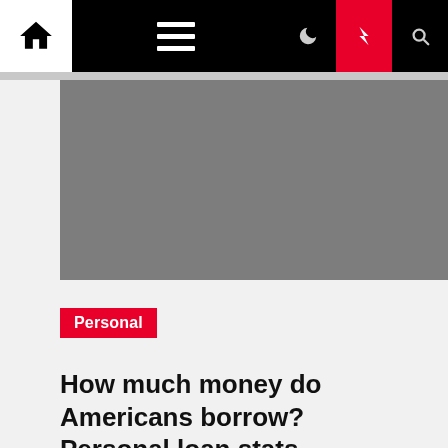Navigation bar with home, menu, moon, lightning, search icons
[Figure (photo): Gray hero image placeholder]
Personal
How much money do Americans borrow? Personal loan stats
William Arsn  2 years ago